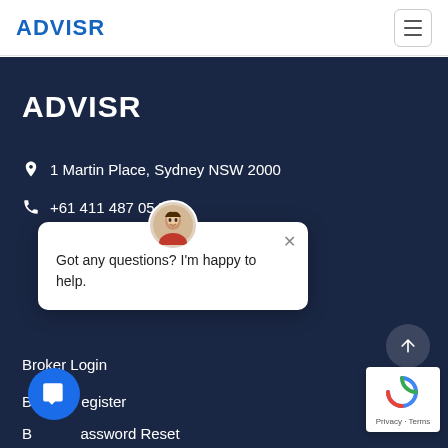ADVISR
ADVISR
1 Martin Place, Sydney NSW 2000
+61 411 487 054
Got any questions? I'm happy to help.
Broker Login
Broker Register
Broker Password Reset
[Figure (logo): reCAPTCHA logo with Privacy and Terms links]